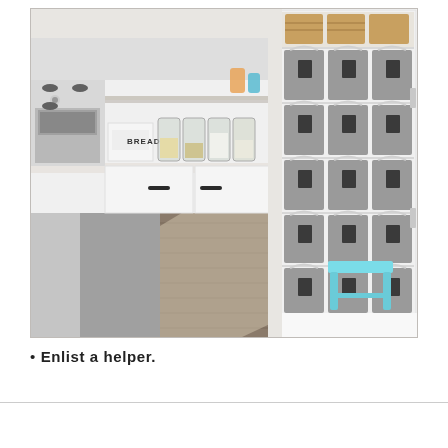[Figure (photo): A kitchen scene showing white cabinets with black hardware, a stainless steel oven/range, glass canisters on the counter labeled with various dry goods, a bread box, and an open pantry cabinet filled with multiple rows of labeled gray fabric storage bins. A small light blue step stool sits on the dark hardwood floor in front of the pantry. A kitchen island with a dark countertop is visible in the foreground left.]
Enlist a helper.